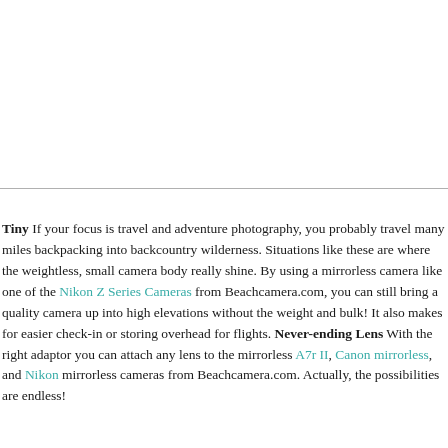[Figure (photo): White blank area at the top of the page, representing the upper portion of an image or blank space.]
Tiny If your focus is travel and adventure photography, you probably travel many miles backpacking into backcountry wilderness. Situations like these are where the weightless, small camera body really shine. By using a mirrorless camera like one of the Nikon Z Series Cameras from Beachcamera.com, you can still bring a quality camera up into high elevations without the weight and bulk! It also makes for easier check-in or storing overhead for flights. Never-ending Lens With the right adaptor you can attach any lens to the mirrorless A7r II, Canon mirrorless, and Nikon mirrorless cameras from Beachcamera.com. Actually, the possibilities are endless!